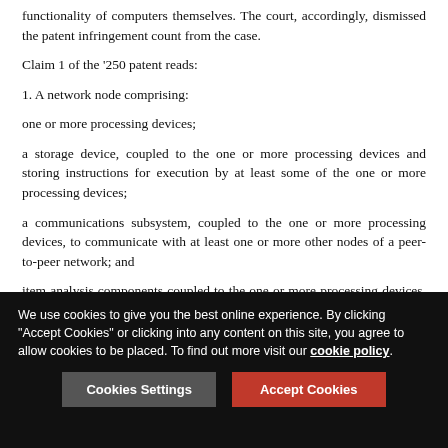functionality of computers themselves. The court, accordingly, dismissed the patent infringement count from the case.
Claim 1 of the '250 patent reads:
1. A network node comprising:
one or more processing devices;
a storage device, coupled to the one or more processing devices and storing instructions for execution by at least some of the one or more processing devices;
a communications subsystem, coupled to the one or more processing devices, to communicate with at least one or more other nodes of a peer-to-peer network; and
item analysis components coupled to the one or more processing devices, the item analysis components comprising
We use cookies to give you the best online experience. By clicking "Accept Cookies" or clicking into any content on this site, you agree to allow cookies to be placed. To find out more visit our cookie policy.